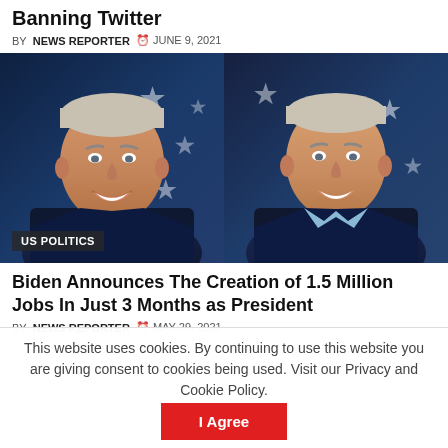Banning Twitter
BY NEWS REPORTER  JUNE 9, 2021
[Figure (photo): Two side-by-side photos of Joe Biden smiling in a dark navy suit against an American flag background. A 'US POLITICS' label overlay appears at the bottom left.]
Biden Announces The Creation of 1.5 Million Jobs In Just 3 Months as President
BY NEWS REPORTER  MAY 29, 2021
This website uses cookies. By continuing to use this website you are giving consent to cookies being used. Visit our Privacy and Cookie Policy.